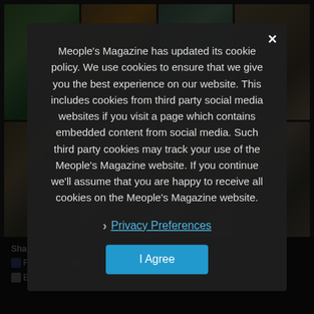[Figure (photo): Grid of 8 board game photos showing colorful tiles, game pieces, and wooden boards arranged in 2 rows of 4 images]
Meople's Magazine has updated its cookie policy. We use cookies to ensure that we give you the best experience on our website. This includes cookies from third party social media websites if you visit a page which contains embedded content from social media. Such third party cookies may track your use of the Meople's Magazine website. If you continue we'll assume that you are happy to receive all cookies on the Meople's Magazine website.
Privacy Preferences
I Agree
Share this:
Facebook | Twitter | Pinterest | Reddit
Email